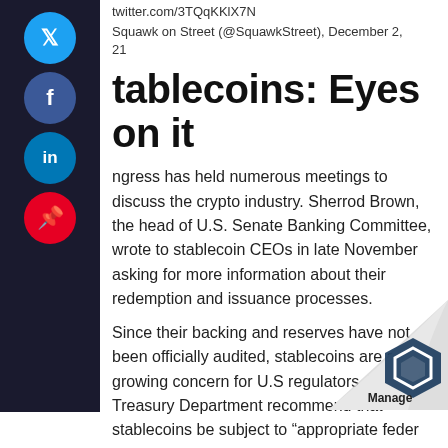twitter.com/3TQqKKlX7N
Squawk on Street (@SquawkStreet), December 2, 21
tablecoins: Eyes on it
ngress has held numerous meetings to discuss the crypto industry. Sherrod Brown, the head of U.S. Senate Banking Committee, wrote to stablecoin CEOs in late November asking for more information about their redemption and issuance processes.
Since their backing and reserves have not been officially audited, stablecoins are a growing concern for U.S regulators. The Treasury Department recommend that stablecoins be subject to “appropriate feder supervision” in November.
SeeNews Featured Image